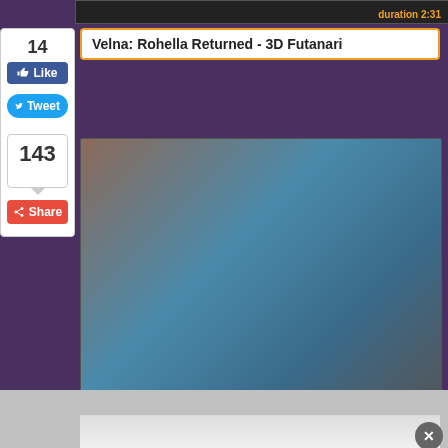[Figure (screenshot): Partial video thumbnail visible at top edge, showing duration label '2:31' in orange text]
14
Like
Tweet
143
Share
Velna: Rohella Returned - 3D Futanari
[Figure (screenshot): 3D animated video thumbnail showing two figures, with 'duration 13:39' label in orange text at bottom right]
2021 Exxxtra SFM and Blender Compilation
[Figure (screenshot): Partially visible third video thumbnail at bottom of page with a close (X) button]